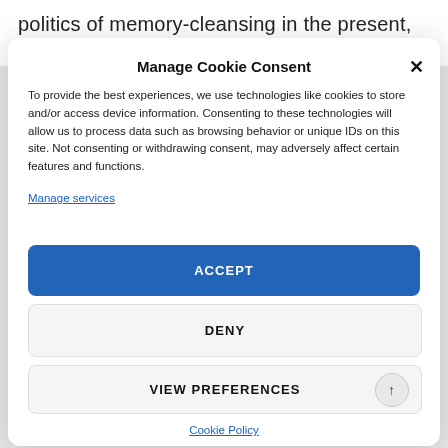politics of memory-cleansing in the present, the
Manage Cookie Consent
To provide the best experiences, we use technologies like cookies to store and/or access device information. Consenting to these technologies will allow us to process data such as browsing behavior or unique IDs on this site. Not consenting or withdrawing consent, may adversely affect certain features and functions.
Manage services
ACCEPT
DENY
VIEW PREFERENCES
Cookie Policy